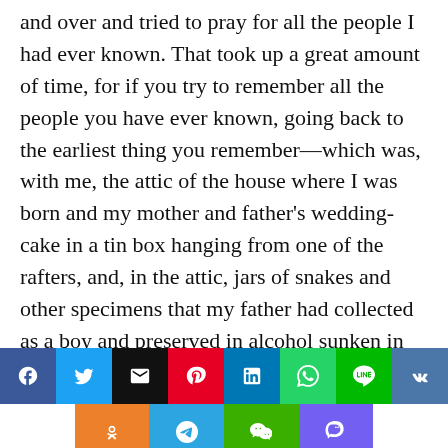and over and tried to pray for all the people I had ever known. That took up a great amount of time, for if you try to remember all the people you have ever known, going back to the earliest thing you remember—which was, with me, the attic of the house where I was born and my mother and father's wedding-cake in a tin box hanging from one of the rafters, and, in the attic, jars of snakes and other specimens that my father had collected as a boy and preserved in alcohol sunken in the jars so the backs of some of the snakes and specimens were exposed and had turned white—if you thought back that far, you remembered a great
[Figure (infographic): Social media share buttons: Facebook (blue), Twitter (light blue), Email (black), Pinterest (red), LinkedIn (blue), WhatsApp (green), Line (green), VK (dark blue) in first row; Odnoklassniki (orange), Telegram (light blue), WeChat (green), Viber (purple) in second row]